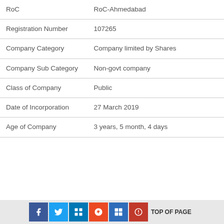| RoC | RoC-Ahmedabad |
| Registration Number | 107265 |
| Company Category | Company limited by Shares |
| Company Sub Category | Non-govt company |
| Class of Company | Public |
| Date of Incorporation | 27 March 2019 |
| Age of Company | 3 years, 5 month, 4 days |
TOP OF PAGE